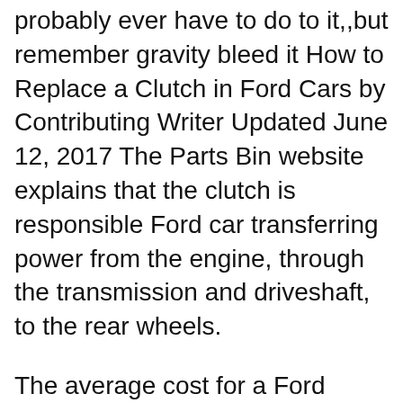probably ever have to do to it,,but remember gravity bleed it How to Replace a Clutch in Ford Cars by Contributing Writer Updated June 12, 2017 The Parts Bin website explains that the clutch is responsible Ford car transferring power from the engine, through the transmission and driveshaft, to the rear wheels.
The average cost for a Ford Ranger clutch replacement is between $824 and $966. Labor costs are estimated between $459 and $580 while parts are priced between $365 and $386. Estimate does not include taxes and fees. Note about price: This service is typically done as part of a вЂ¦